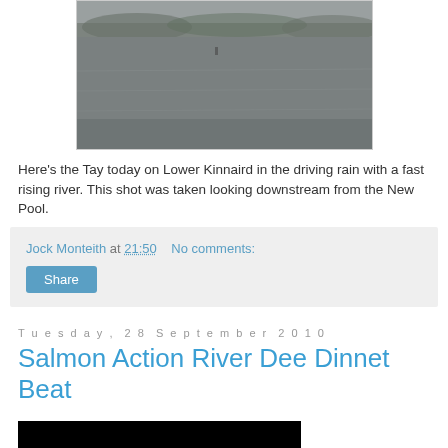[Figure (photo): Photograph of the River Tay at Lower Kinnaird in driving rain with a fast rising river, viewed looking downstream from the New Pool. The scene shows a wide grey river surface under overcast skies with trees in the background.]
Here's the Tay today on Lower Kinnaird in the driving rain with a fast rising river. This shot was taken looking downstream from the New Pool.
Jock Monteith at 21:50   No comments:
Share
Tuesday, 28 September 2010
Salmon Action River Dee Dinnet Beat
[Figure (photo): Black video thumbnail at the bottom of the page.]